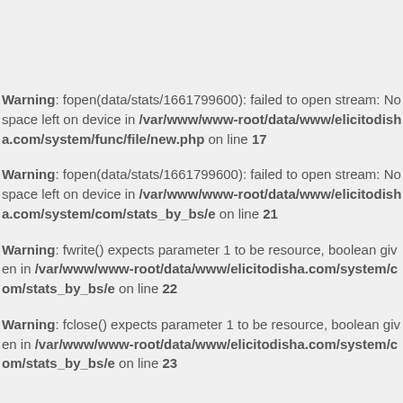Warning: fopen(data/stats/1661799600): failed to open stream: No space left on device in /var/www/www-root/data/www/elicitodisha.com/system/func/file/new.php on line 17
Warning: fopen(data/stats/1661799600): failed to open stream: No space left on device in /var/www/www-root/data/www/elicitodisha.com/system/com/stats_by_bs/e on line 21
Warning: fwrite() expects parameter 1 to be resource, boolean given in /var/www/www-root/data/www/elicitodisha.com/system/com/stats_by_bs/e on line 22
Warning: fclose() expects parameter 1 to be resource, boolean given in /var/www/www-root/data/www/elicitodisha.com/system/com/stats_by_bs/e on line 23